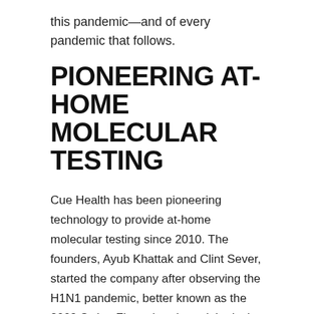this pandemic—and of every pandemic that follows.
PIONEERING AT-HOME MOLECULAR TESTING
Cue Health has been pioneering technology to provide at-home molecular testing since 2010. The founders, Ayub Khattak and Clint Sever, started the company after observing the H1N1 pandemic, better known as the 2009 Swine Flu outbreak, and the lack of diagnostic capability that existed at the point of care at that time.
"They wanted to create something that was fast, field deployable, reliable, and had the ability to connect data back into the public healthcare system," Achar says,